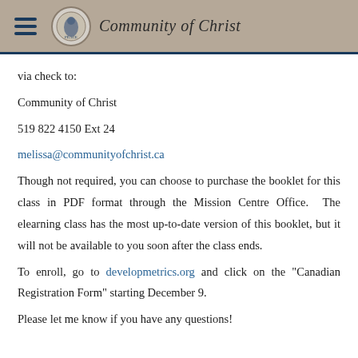Community of Christ
via check to:
Community of Christ
519 822 4150 Ext 24
melissa@communityofchrist.ca
Though not required, you can choose to purchase the booklet for this class in PDF format through the Mission Centre Office.  The elearning class has the most up-to-date version of this booklet, but it will not be available to you soon after the class ends.
To enroll, go to developmetrics.org and click on the "Canadian Registration Form" starting December 9.
Please let me know if you have any questions!